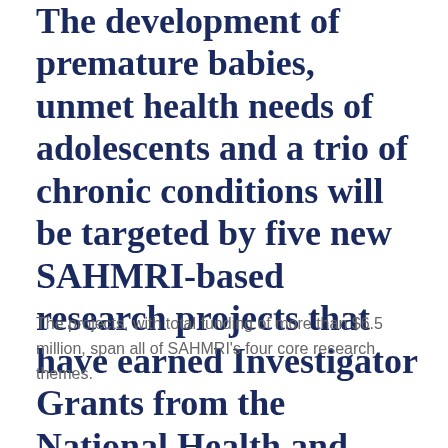The development of premature babies, unmet health needs of adolescents and a trio of chronic conditions will be targeted by five new SAHMRI-based research projects that have earned Investigator Grants from the National Health and Medical Research Council.
The projects, with total funding of more than $6.5 million, span all of SAHMRI's four core research themes.